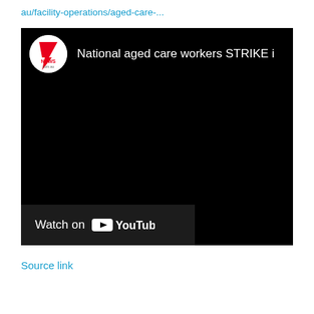au/facility-operations/aged-care-...
[Figure (screenshot): Embedded YouTube video thumbnail showing a 7News video titled 'National aged care workers STRIKE i...' with a black video frame and a 'Watch on YouTube' button at the bottom left.]
Source link